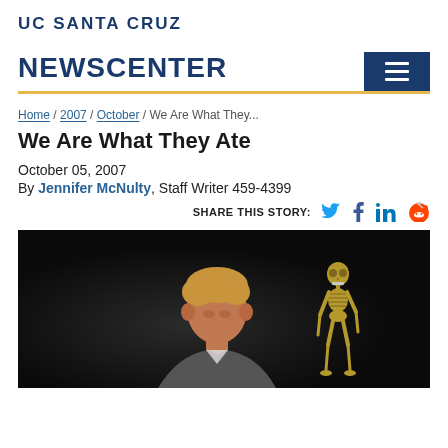UC SANTA CRUZ
NEWSCENTER
Home / 2007 / October / We Are What They...
We Are What They Ate
October 05, 2007
By Jennifer McNulty, Staff Writer 459-4399
SHARE THIS STORY:
[Figure (photo): Man with reddish-blond hair photographed against a dark background, with a small golden skeleton figurine visible to his right.]